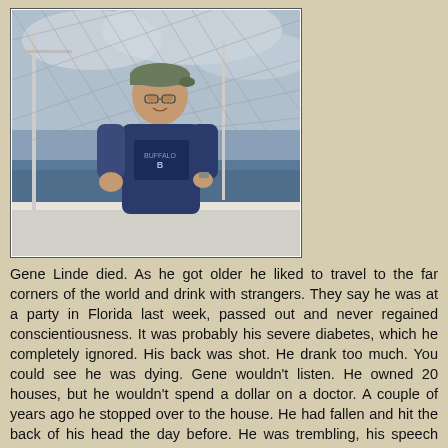[Figure (photo): A man wearing a dark blue t-shirt and green baseball cap standing on a boat deck with water, sailboat masts, and a cloudy sky in the background. A chain-link fence or net is visible in the upper portion of the image.]
Gene Linde died. As he got older he liked to travel to the far corners of the world and drink with strangers. They say he was at a party in Florida last week, passed out and never regained conscientiousness. It was probably his severe diabetes, which he completely ignored. His back was shot. He drank too much. You could see he was dying. Gene wouldn't listen. He owned 20 houses, but he wouldn't spend a dollar on a doctor. A couple of years ago he stopped over to the house. He had fallen and hit the back of his head the day before. He was trembling, his speech was slurred and there was blood draining from his ears. He wouldn't go to the emergency room, because he had $5000 deductible! He